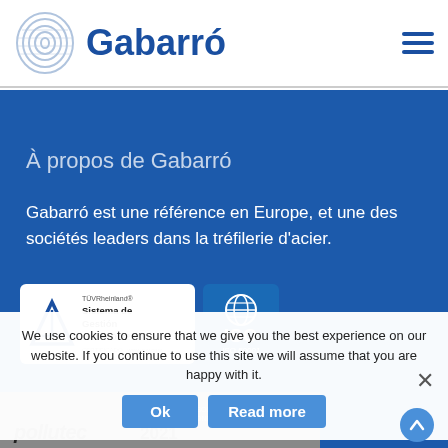[Figure (logo): Gabarró company logo with wire coil icon and blue text]
Gabarró
À propos de Gabarró
Gabarró est une référence en Europe, et une des sociétés leaders dans la tréfilerie d'acier.
[Figure (logo): TÜV Rheinland ISO 9001:2015 certification badge]
[Figure (logo): ISO 50001 certification logo]
We use cookies to ensure that we give you the best experience on our website. If you continue to use this site we will assume that you are happy with it.
[Figure (logo): Pollutec 2021 trade fair banner, Lyon, FOREXPO FRANCE]